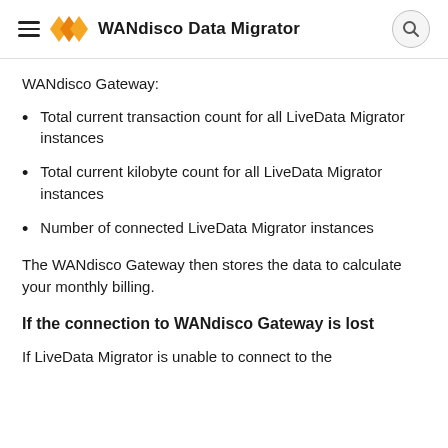WANdisco Data Migrator
WANdisco Gateway:
Total current transaction count for all LiveData Migrator instances
Total current kilobyte count for all LiveData Migrator instances
Number of connected LiveData Migrator instances
The WANdisco Gateway then stores the data to calculate your monthly billing.
If the connection to WANdisco Gateway is lost
If LiveData Migrator is unable to connect to the